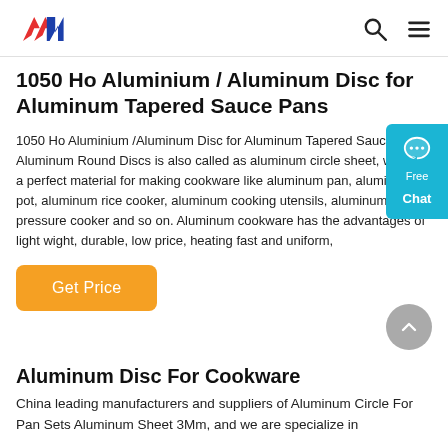AAN logo, search icon, menu icon
1050 Ho Aluminium / Aluminum Disc for Aluminum Tapered Sauce Pans
1050 Ho Aluminium /Aluminum Disc for Aluminum Tapered Sauce Pans Aluminum Round Discs is also called as aluminum circle sheet, which is a perfect material for making cookware like aluminum pan, aluminum pot, aluminum rice cooker, aluminum cooking utensils, aluminum pressure cooker and so on. Aluminum cookware has the advantages of light wight, durable, low price, heating fast and uniform,
[Figure (other): Orange 'Get Price' button]
[Figure (other): Gray circular scroll-up arrow button]
Aluminum Disc For Cookware
China leading manufacturers and suppliers of Aluminum Circle For Pan Sets Aluminum Sheet 3Mm, and we are specialize in